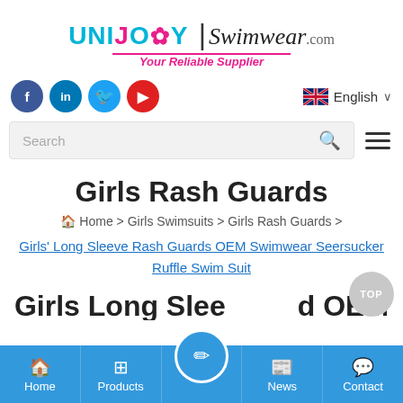[Figure (logo): UNIJOY Swimwear.com logo with tagline 'Your Reliable Supplier']
[Figure (infographic): Social media icons (Facebook, LinkedIn, Twitter, YouTube) and English language selector with UK flag]
[Figure (screenshot): Search bar with magnifying glass icon and hamburger menu icon]
Girls Rash Guards
Home > Girls Swimsuits > Girls Rash Guards >
Girls' Long Sleeve Rash Guards OEM Swimwear Seersucker Ruffle Swim Suit
[Figure (infographic): Partially visible heading text at bottom of page]
[Figure (infographic): Bottom navigation bar with Home, Products, center circle icon, News, Contact]